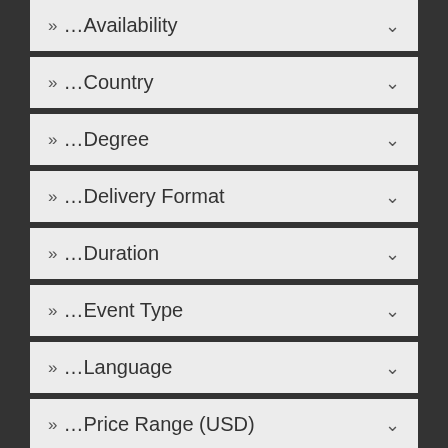» ...Availability
» ...Country
» ...Degree
» ...Delivery Format
» ...Duration
» ...Event Type
» ...Language
» ...Price Range (USD)
» ...Provider Type
We use cookies! If you continue to use this site you agree with this practice. Read more about cookies and how to delete them in our privacy policy.